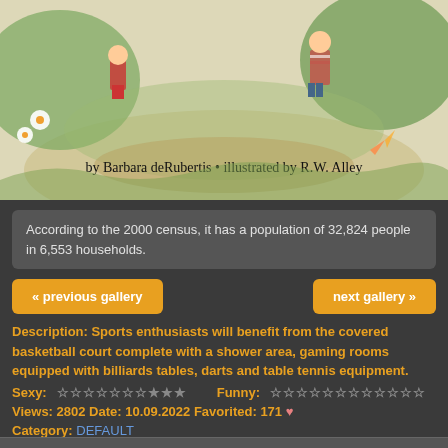[Figure (illustration): Children's book illustration showing children playing outdoors with flowers, trees and a path. Text reads 'by Barbara deRubertis • illustrated by R.W. Alley']
According to the 2000 census, it has a population of 32,824 people in 6,553 households.
« previous gallery
next gallery »
Description: Sports enthusiasts will benefit from the covered basketball court complete with a shower area, gaming rooms equipped with billiards tables, darts and table tennis equipment.
Sexy: ☆☆☆☆☆☆☆★★★   Funny: ☆☆☆☆☆☆☆☆☆☆☆☆
Views: 2802 Date: 10.09.2022 Favorited: 171 ♥
Category: DEFAULT